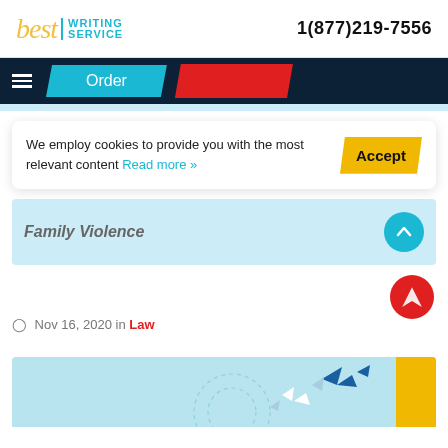best WRITING SERVICE  1(877)219-7556
Order
We employ cookies to provide you with the most relevant content Read more »
Accept
Family Violence
Nov 16, 2020 in Law